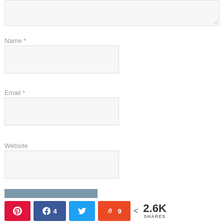[Figure (screenshot): Top portion of a comment/contact form textarea, partially visible, with resize handle at bottom-right]
Name *
[Figure (screenshot): Name input field, empty, light gray background]
Email *
[Figure (screenshot): Email input field, empty, light gray background]
Website
[Figure (screenshot): Website input field, empty, light gray background]
[Figure (screenshot): Submit/Post Comment button, gray-blue color]
[Figure (infographic): Social share bar with Pinterest, Facebook (4), Twitter, StumbleUpon (9) buttons and 2.6K SHARES total]